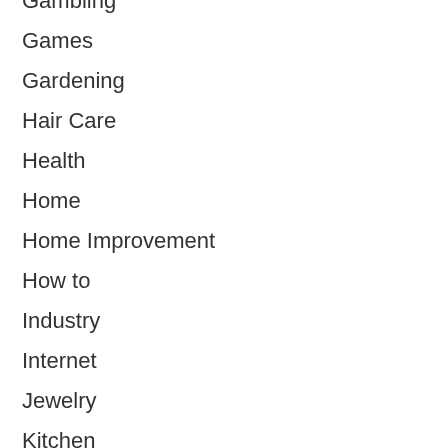Gambling
Games
Gardening
Hair Care
Health
Home
Home Improvement
How to
Industry
Internet
Jewelry
Kitchen
Law
Law
Love & Sex
Makeup